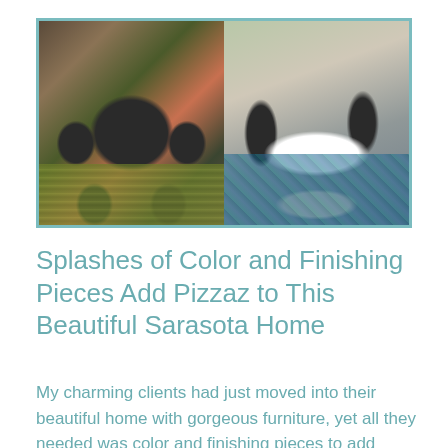[Figure (photo): Two photos side by side with teal border: left shows outdoor dining set with dark wicker chairs and colorful pillows on green rug; right shows outdoor lounge area with dark wicker sofa set, white coffee table fire pit, and teal patterned rug.]
Splashes of Color and Finishing Pieces Add Pizzaz to This Beautiful Sarasota Home
My charming clients had just moved into their beautiful home with gorgeous furniture, yet all they needed was color and finishing pieces to add pizzaz. After delivering a handful of carefully curated pieces...